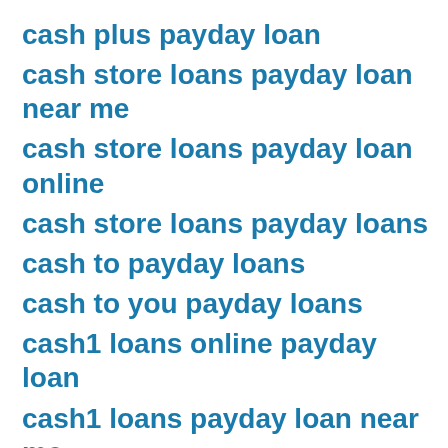cash plus payday loan
cash store loans payday loan near me
cash store loans payday loan online
cash store loans payday loans
cash to payday loans
cash to you payday loans
cash1 loans online payday loan
cash1 loans payday loan near me
cash1 loans payday loan online
cash1 loans payday loans near